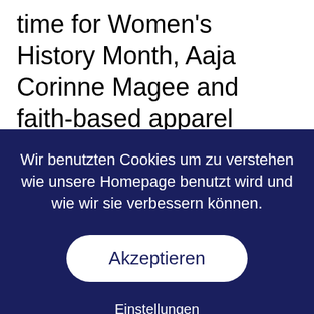time for Women's History Month, Aaja Corinne Magee and faith-based apparel company Pint Size Faith collaborated to
Wir benutzten Cookies um zu verstehen wie unsere Homepage benutzt wird und wie wir sie verbessern können.
Akzeptieren
Einstellungen